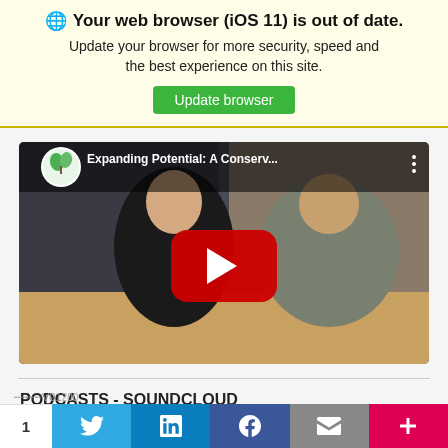🌐 Your web browser (iOS 11) is out of date. Update your browser for more security, speed and the best experience on this site. Update browser
[Figure (screenshot): YouTube video thumbnail showing two men sitting at a conference table. Title overlay reads 'Expanding Potential: A Conserv...' with YouTube play button in center and channel icon (plant/seedling in circle) in top left.]
PODCASTS - SOUNDCLOUD
1